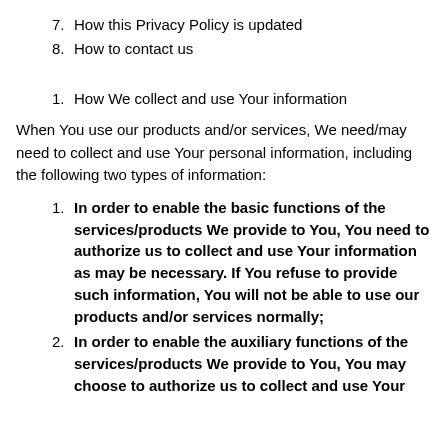7. How this Privacy Policy is updated
8. How to contact us
1. How We collect and use Your information
When You use our products and/or services, We need/may need to collect and use Your personal information, including the following two types of information:
1. In order to enable the basic functions of the services/products We provide to You, You need to authorize us to collect and use Your information as may be necessary. If You refuse to provide such information, You will not be able to use our products and/or services normally;
2. In order to enable the auxiliary functions of the services/products We provide to You, You may choose to authorize us to collect and use Your...